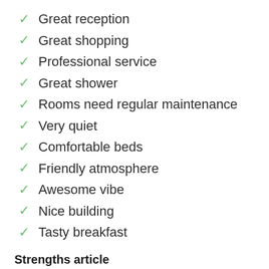Great reception
Great shopping
Professional service
Great shower
Rooms need regular maintenance
Very quiet
Comfortable beds
Friendly atmosphere
Awesome vibe
Nice building
Tasty breakfast
Strengths article